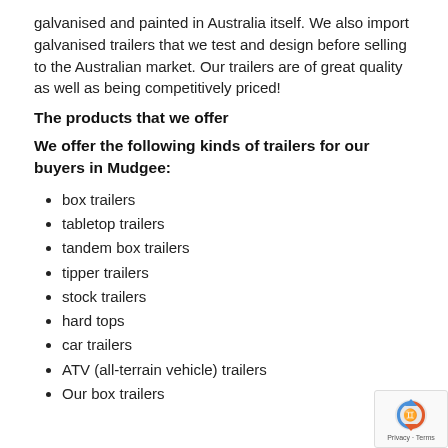galvanised and painted in Australia itself. We also import galvanised trailers that we test and design before selling to the Australian market. Our trailers are of great quality as well as being competitively priced!
The products that we offer
We offer the following kinds of trailers for our buyers in Mudgee:
box trailers
tabletop trailers
tandem box trailers
tipper trailers
stock trailers
hard tops
car trailers
ATV (all-terrain vehicle) trailers
Our box trailers